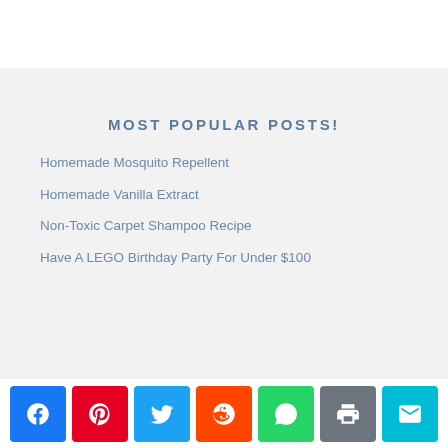MOST POPULAR POSTS!
Homemade Mosquito Repellent
Homemade Vanilla Extract
Non-Toxic Carpet Shampoo Recipe
Have A LEGO Birthday Party For Under $100